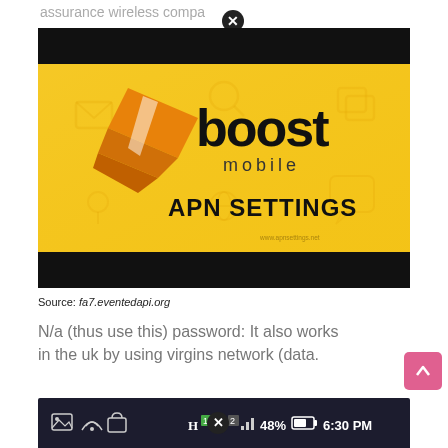assurance wireless company
[Figure (screenshot): Boost Mobile APN Settings promotional image on yellow background with orange arrow logo and faint communication icons. Text reads 'boost mobile APN SETTINGS' with watermark www.apnsettings.net]
Source: fa7.eventedapi.org
N/a (thus use this) password: It also works in the uk by using virgins network (data.
[Figure (screenshot): Android status bar showing notification icons on left (image, wifi, bag), H network indicator, signal bars, 48% battery, and 6:30 PM time on dark background]